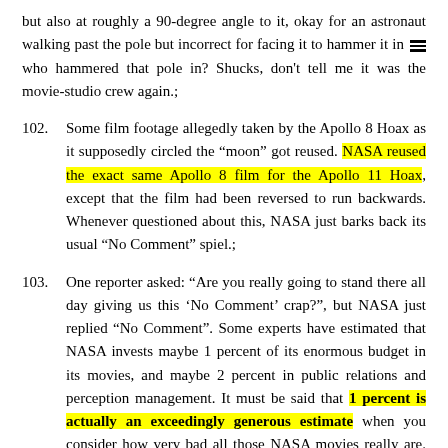but also at roughly a 90-degree angle to it, okay for an astronaut walking past the pole but incorrect for facing it to hammer it in [menu icon] who hammered that pole in? Shucks, don't tell me it was the movie-studio crew again.;
102. Some film footage allegedly taken by the Apollo 8 Hoax as it supposedly circled the “moon” got reused. NASA reused the exact same Apollo 8 film for the Apollo 11 Hoax, except that the film had been reversed to run backwards. Whenever questioned about this, NASA just barks back its usual “No Comment” spiel.;
103. One reporter asked: “Are you really going to stand there all day giving us this ‘No Comment’ crap?”, but NASA just replied “No Comment”. Some experts have estimated that NASA invests maybe 1 percent of its enormous budget in its movies, and maybe 2 percent in public relations and perception management. It must be said that 1 percent is actually an exceedingly generous estimate when you consider how very bad all those NASA movies really are. So is the other 97 percent of the NASA budget invested in the “No Comment